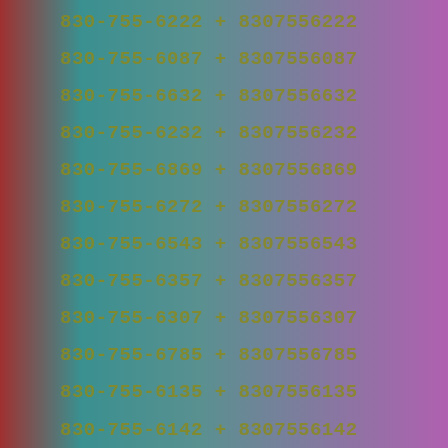830-755-6222 + 8307556222
830-755-6087 + 8307556087
830-755-6632 + 8307556632
830-755-6232 + 8307556232
830-755-6869 + 8307556869
830-755-6272 + 8307556272
830-755-6543 + 8307556543
830-755-6357 + 8307556357
830-755-6307 + 8307556307
830-755-6785 + 8307556785
830-755-6135 + 8307556135
830-755-6142 + 8307556142
830-755-6091 + 8307556091
830-755-6028 + 8307556028
830-755-6627 + 8307556627
830-755-6099 + 8307556099
830-755-6547 + 8307556547
830-755-6795 + 8307556795
830-755-6654 + 8307556654
830-755-6298 + 8307556298
830-755-6341 + 8307556341
830-755-6325 + 8307556325